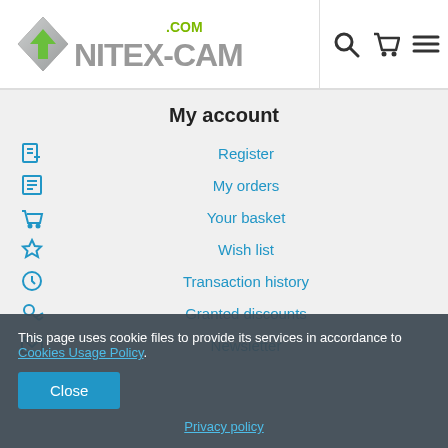[Figure (logo): Nitex-Camo.com website header logo with green arrow emblem and grey metallic text, plus search, cart, and menu icons]
My account
Register
My orders
Your basket
Wish list
Transaction history
Granted discounts
Newsletter
This page uses cookie files to provide its services in accordance to Cookies Usage Policy.
Privacy policy